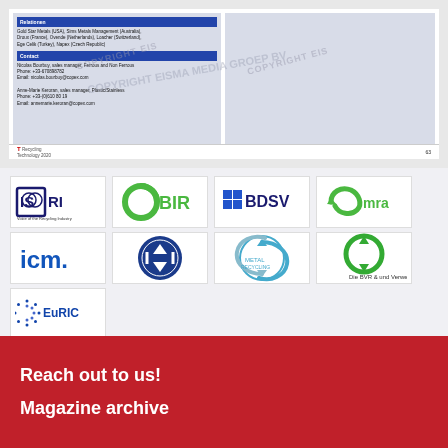[Figure (screenshot): Document page thumbnail showing copyrighted content with watermarks 'COPYRIGHT EISMA MEDIA GROEP BV' overlaid. Left column shows a document with blue header bars, company listings (Gold Star Metals USA, Sims Metals Management Australia, Droux France, Ovende Netherlands, Loacher Switzerland, Ege Celik Turkey, Napex Czech Republic) and contact information. Page footer shows 'Recycling Technology 2020' logo and page number 63.]
[Figure (logo): ISRI logo - Institute of Scrap Recycling Industries with text 'Voice of the Recycling Industry']
[Figure (logo): BIR logo - green circular arrow symbol with BIR text]
[Figure (logo): BDSV logo - blue squares grid with BDSV text]
[Figure (logo): MRA logo - green recycling symbol with mra text]
[Figure (logo): ICM logo - blue bold text 'icm.']
[Figure (logo): Blue circular recycling arrows logo - circular badge design]
[Figure (logo): Metal Recycling Network - circular arrows logo in blue/teal]
[Figure (logo): BVR logo - green recycling circular arrows with small text]
[Figure (logo): EuRIC logo - European Recycling Industries Confederation with EU stars circle motif]
Reach out to us!
Magazine archive